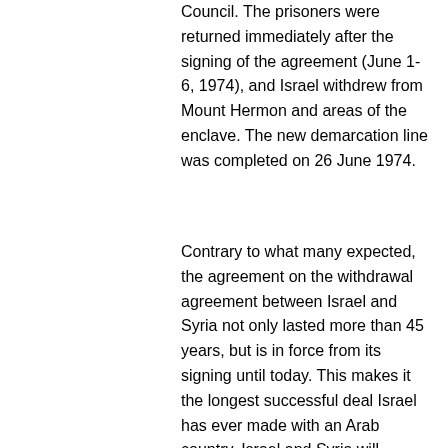Council. The prisoners were returned immediately after the signing of the agreement (June 1-6, 1974), and Israel withdrew from Mount Hermon and areas of the enclave. The new demarcation line was completed on 26 June 1974.
Contrary to what many expected, the agreement on the withdrawal agreement between Israel and Syria not only lasted more than 45 years, but is in force from its signing until today. This makes it the longest successful deal Israel has ever made with an Arab country. Israel and Syria will support a United Nations Security Council resolution providing for UNDOF as provided for in the agreement. The initial authorization is accompanied by a six-month extension by other Security Council resolutions. E. The provisions of subparagraphs A, B and C shall be inspected by the personnel of the United Nations Disengagement Observer Force under this Agreement. UNDOF shall carry out the inspections provided for in the Agreement and report regularly to the Parties, at least once every two weeks and beyond, at the request of one of the Parties. It shall indicate on the ground the respective lines appearing on the map.